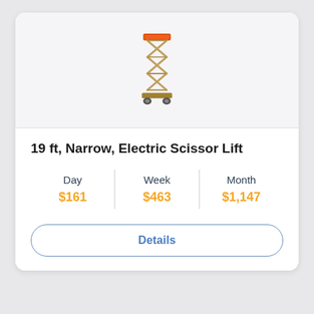[Figure (illustration): A red and orange scissor lift (narrow electric type) shown vertically extended, photographed against a white background.]
19 ft, Narrow, Electric Scissor Lift
| Day | Week | Month |
| --- | --- | --- |
| $161 | $463 | $1,147 |
Details